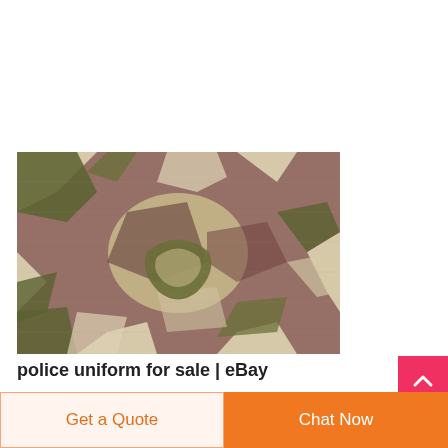[Figure (photo): Close-up photo of camouflage fabric with desert sand, dark brown/maroon, olive green, and light beige color pattern, fabric is folded/rolled in the center]
police uniform for sale | eBay
Military BDU Shirt Tactical Uniform Army Coat
Get a Quote
Chat Now